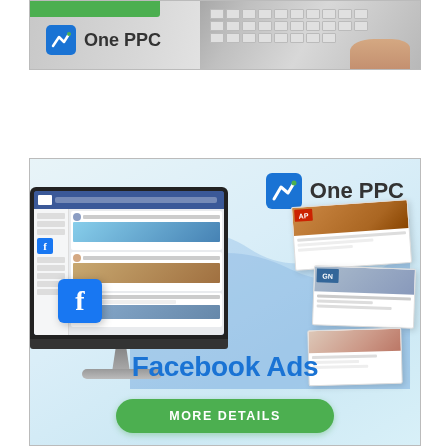[Figure (advertisement): Top banner ad for One PPC showing a laptop keyboard background with One PPC logo (blue N icon) and green strip at top]
[Figure (advertisement): Large square ad for One PPC Facebook Ads service. Shows One PPC logo top right, a monitor displaying Facebook interface with flying ad cards, Facebook icon, text 'Facebook Ads' in blue, and green 'MORE DETAILS' button]